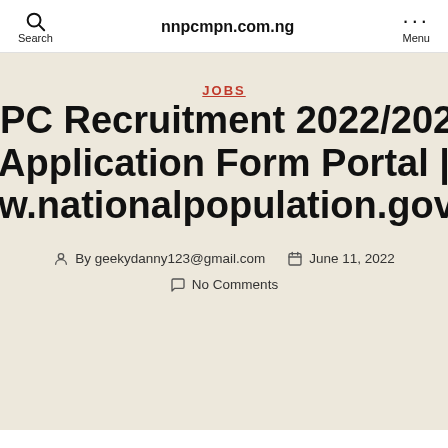nnpcmpn.com.ng
JOBS
NPC Recruitment 2022/2023 Application Form Portal | www.nationalpopulation.gov.ng
By geekydanny123@gmail.com   June 11, 2022
No Comments